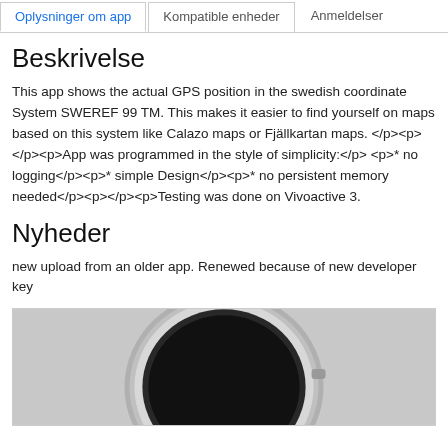Oplysninger om app | Kompatible enheder | Anmeldelser
Beskrivelse
This app shows the actual GPS position in the swedish coordinate System SWEREF 99 TM. This makes it easier to find yourself on maps based on this system like Calazo maps or Fjällkartan maps. </p><p></p><p>App was programmed in the style of simplicity:</p><p>* no logging</p><p>* simple Design</p><p>* no persistent memory needed</p><p></p><p>Testing was done on Vivoactive 3.
Nyheder
new upload from an older app. Renewed because of new developer key
[Figure (photo): A smartwatch (Vivoactive 3) shown from the top, black wristband and circular silver bezel, partial view from above.]